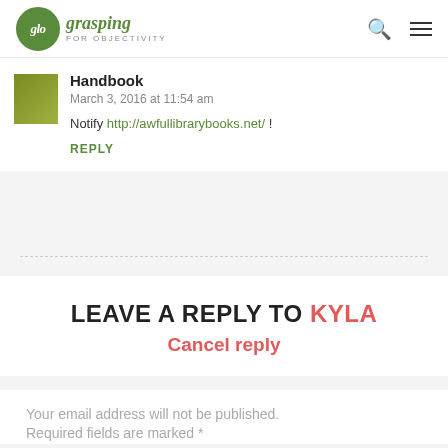glo grasping FOR OBJECTIVITY
Handbook
March 3, 2016 at 11:54 am
Notify http://awfullibrarybooks.net/ !
REPLY
LEAVE A REPLY TO Kyla
Cancel reply
Your email address will not be published. Required fields are marked *